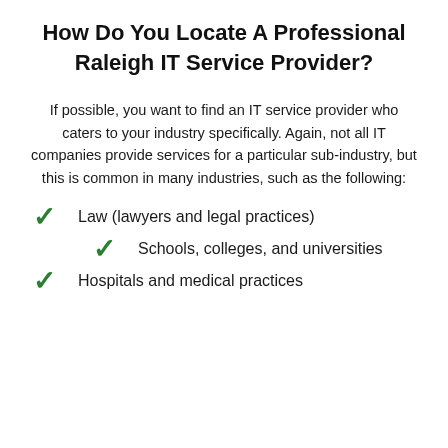How Do You Locate A Professional Raleigh IT Service Provider?
If possible, you want to find an IT service provider who caters to your industry specifically. Again, not all IT companies provide services for a particular sub-industry, but this is common in many industries, such as the following:
Law (lawyers and legal practices)
Schools, colleges, and universities
Hospitals and medical practices